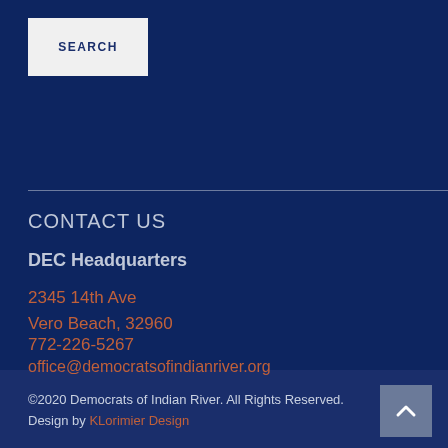SEARCH
CONTACT US
DEC Headquarters
2345 14th Ave
Vero Beach, 32960
772-226-5267
office@democratsofindianriver.org
©2020 Democrats of Indian River. All Rights Reserved.
Design by KLorimier Design